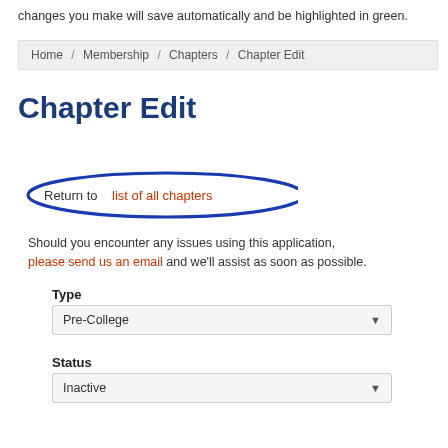changes you make will save automatically and be highlighted in green.
[Figure (screenshot): Breadcrumb navigation bar showing: Home / Membership / Chapters / Chapter Edit]
Chapter Edit
[Figure (illustration): Blue oval circle drawn around the text 'Return to list of all chapters' link]
Should you encounter any issues using this application, please send us an email and we'll assist as soon as possible.
Type
[Figure (screenshot): Dropdown selector showing 'Pre-College' as selected value]
Status
[Figure (screenshot): Dropdown selector showing 'Inactive' as selected value]